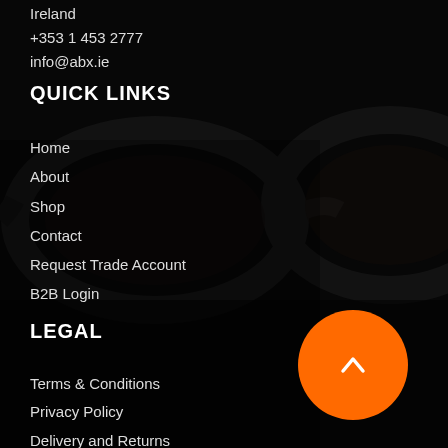Ireland
+353 1 453 2777
info@abx.ie
QUICK LINKS
Home
About
Shop
Contact
Request Trade Account
B2B Login
LEGAL
[Figure (other): Orange circular scroll-to-top button with white chevron/caret pointing upward]
Terms & Conditions
Privacy Policy
Delivery and Returns